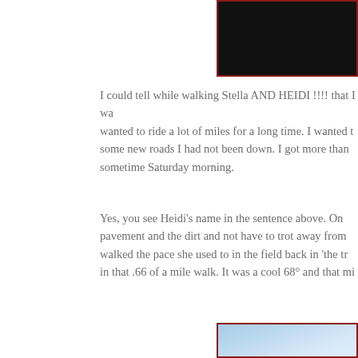[Figure (photo): Top portion of a framed photo with dark/black content, partially visible at top of page]
I could tell while walking Stella AND HEIDI !!!! that I wa wanted to ride a lot of miles for a long time. I wanted t some new roads I had not been down. I got more than sometime Saturday morning.
Yes, you see Heidi's name in the sentence above. On pavement and the dirt and not have to trot away from walked the pace she used to in the field back in 'the tr in that .66 of a mile walk. It was a cool 68° and that mi
[Figure (photo): Bottom portion of a framed photo showing a blue sky with clouds, partially visible at bottom of page]